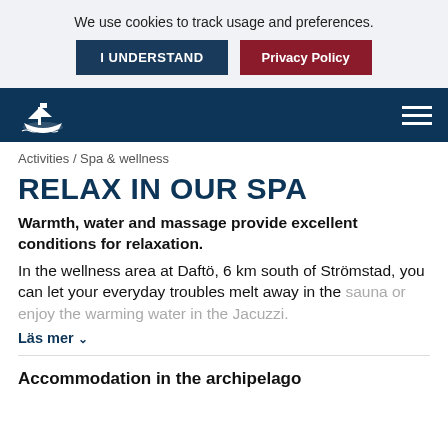We use cookies to track usage and preferences.
I UNDERSTAND
Privacy Policy
Activities / Spa & wellness
RELAX IN OUR SPA
Warmth, water and massage provide excellent conditions for relaxation.
In the wellness area at Daftö, 6 km south of Strömstad, you can let your everyday troubles melt away in the sauna or enjoy the warming water in the Jacuzzi.
Läs mer
Accommodation in the archipelago